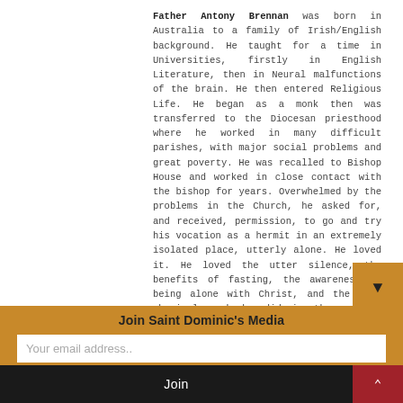Father Antony Brennan was born in Australia to a family of Irish/English background. He taught for a time in Universities, firstly in English Literature, then in Neural malfunctions of the brain. He then entered Religious Life. He began as a monk then was transferred to the Diocesan priesthood where he worked in many difficult parishes, with major social problems and great poverty. He was recalled to Bishop House and worked in close contact with the bishop for years. Overwhelmed by the problems in the Church, he asked for, and received, permission, to go and try his vocation as a hermit in an extremely isolated place, utterly alone. He loved it. He loved the utter silence, the benefits of fasting, the awareness of being alone with Christ, and the hard physical work he did in the wrecked church and grounds. When it was time to return to the Bishop's House, he knew the haven of peace was over.
Join Saint Dominic's Media
Your email address..
Join